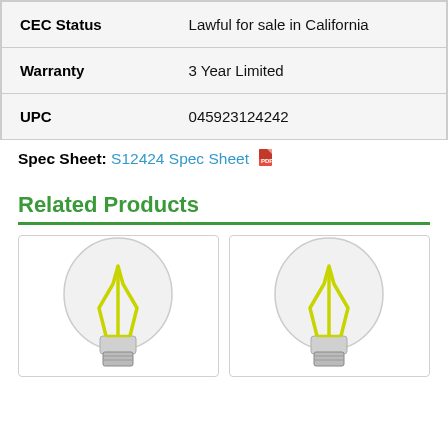| CEC Status | Lawful for sale in California |
| Warranty | 3 Year Limited |
| UPC | 045923124242 |
Spec Sheet: S12424 Spec Sheet [PDF icon]
Related Products
[Figure (photo): Two LED filament bulbs (A19 style) with visible yellow filaments in clear glass bulbs, shown side by side as related products.]